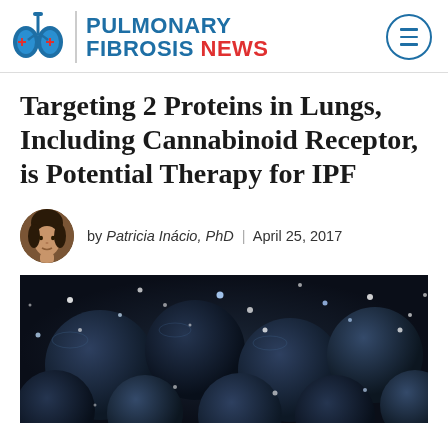[Figure (logo): Pulmonary Fibrosis News logo with lung icon, vertical divider, and site name in blue and red]
Targeting 2 Proteins in Lungs, Including Cannabinoid Receptor, is Potential Therapy for IPF
by Patricia Inácio, PhD | April 25, 2017
[Figure (photo): Dark blue-grey spherical cells or molecules with white glowing dots/particles scattered around them on a dark background]